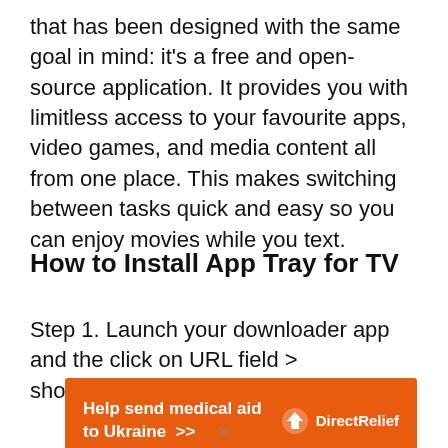that has been designed with the same goal in mind: it's a free and open-source application. It provides you with limitless access to your favourite apps, video games, and media content all from one place. This makes switching between tasks quick and easy so you can enjoy movies while you text.
How to Install App Tray for TV
Step 1. Launch your downloader app and the click on URL field > shorturl.at/binK9 > Go
[Figure (infographic): Orange advertisement banner: 'Help send medical aid to Ukraine >>' with Direct Relief logo on the right]